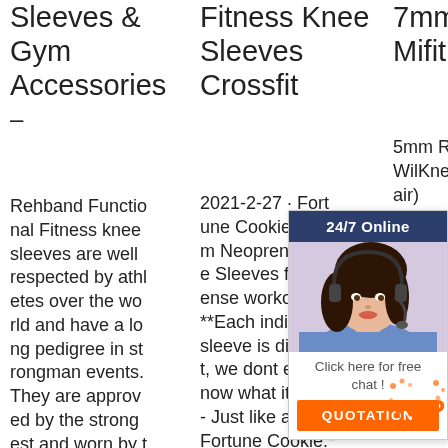Sleeves & Gym Accessories –
Rehband Functional Fitness knee sleeves are well respected by athletes over the world and have a long pedigree in strongman events. They are approved by the strongest and worn by the fittest. As outfi
Fitness Knee Sleeves Crossfit
2021-2-27 · Fort Fortune Cookie. 5 m m Neoprene Knee Sleeves for intense workouts. * **Each individual sleeve is different, we dont even know what itll say- - Just like a true Fortune Cookie.* ** Everyone nee ds a fun, depend
7mm (PAIR) | Mifitness
5mm Reversible Kne air) Sha Slee 9.95 Sku Kne air) * FINAL SALE. 39.95 29.95. Liberte Lifestyles Gift Card.
[Figure (photo): Customer service chat widget with woman wearing headset, dark hair, blue top. Contains '24/7 Online' header, 'Click here for free chat!' text, and 'QUOTATION' orange button.]
[Figure (logo): TOP logo in orange with decorative dots pattern]